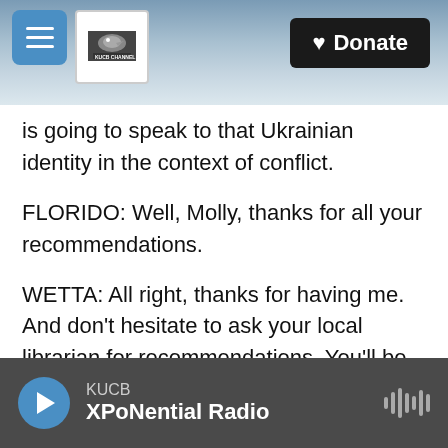[Figure (screenshot): Website header bar with hamburger menu button, KUCB Channel 5 TV logo, mountain/snow background photo, and black Donate button with heart icon]
is going to speak to that Ukrainian identity in the context of conflict.
FLORIDO: Well, Molly, thanks for all your recommendations.
WETTA: All right, thanks for having me. And don't hesitate to ask your local librarian for recommendations. You'll be surprised at how helpful they are.
FLORIDO: Molly Wetta is the library services manager at the Santa Barbara Public Library.
[Figure (screenshot): Audio player bar at bottom: blue circular play button, KUCB station label, XPoNential Radio show name, waveform icon on right]